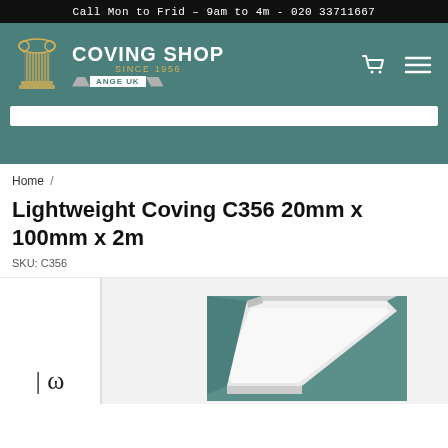Call Mon to Frid – 9am to 4m - 020 33711667
[Figure (logo): Coving Shop Since 1956 logo with column icon on teal background, with cart and menu icons]
Home /
Lightweight Coving C356 20mm x 100mm x 2m
SKU: C356
[Figure (photo): Product image of Lightweight Coving C356 showing a white coving profile piece on a teal background with dimension marker showing 2]